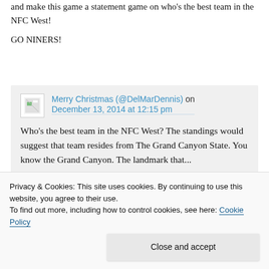and make this game a statement game on who's the best team in the NFC West!
GO NINERS!
Merry Christmas (@DelMarDennis) on December 13, 2014 at 12:15 pm
Who's the best team in the NFC West? The standings would suggest that team resides from The Grand Canyon State. You know the Grand Canyon. The landmark that...
Privacy & Cookies: This site uses cookies. By continuing to use this website, you agree to their use.
To find out more, including how to control cookies, see here: Cookie Policy
Close and accept